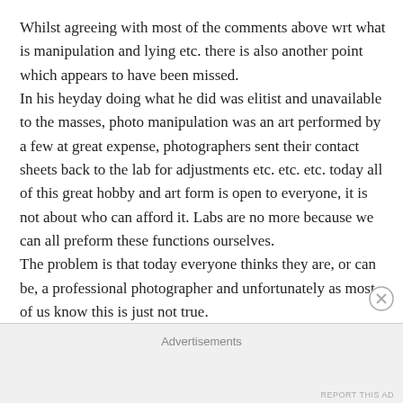Whilst agreeing with most of the comments above wrt what is manipulation and lying etc. there is also another point which appears to have been missed.
In his heyday doing what he did was elitist and unavailable to the masses, photo manipulation was an art performed by a few at great expense, photographers sent their contact sheets back to the lab for adjustments etc. etc. etc. today all of this great hobby and art form is open to everyone, it is not about who can afford it. Labs are no more because we can all preform these functions ourselves.
The problem is that today everyone thinks they are, or can be, a professional photographer and unfortunately as most of us know this is just not true.
Advertisements